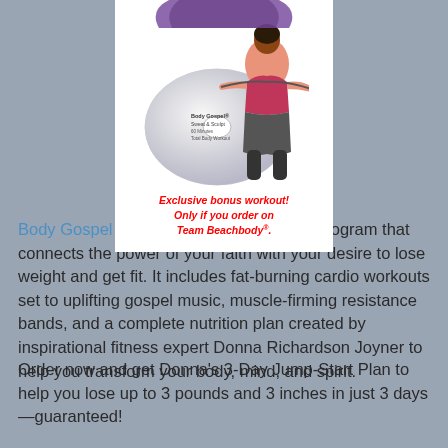[Figure (photo): Product image showing Body Gospel DVD with a woman exercising, and a circular disc graphic labeled 'Body Gospel Sweat & Sculpt'. Below the image is red italic bold text: 'Exclusive bonus workout! Only if you order on Team Beachbody®.']
Body Gospel is a comprehensive fitness program that connects the power of your faith with your desire to lose weight and get fit. It includes fat-burning cardio workouts set to uplifting gospel music, muscle-firming resistance bands, and a complete nutrition plan created by inspirational fitness expert Donna Richardson Joyner to help you transform your body, mind, and spirit.
Order now and get Donna's 3-Day Jump-Start Plan to help you lose up to 3 pounds and 3 inches in just 3 days—guaranteed!